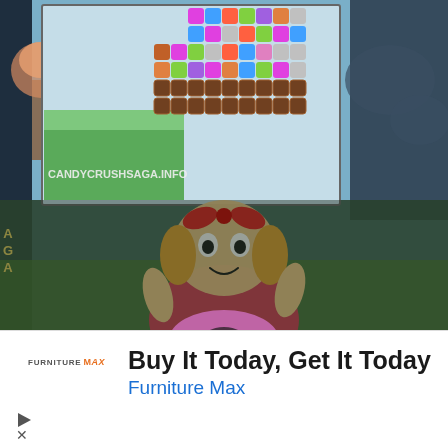[Figure (screenshot): Candy Crush Saga game screenshot showing colorful candy grid puzzle, character mascot girl with red bow, dark background with clouds. Watermark reads CANDYCRUSHSAGA.INFO. Left sidebar shows letters A, G, A vertically.]
[Figure (advertisement): Furniture Max advertisement banner. Logo: FURNITURE MAX with orange MAX. Headline: Buy It Today, Get It Today. Subheadline: Furniture Max in blue. Play and close icons at bottom left.]